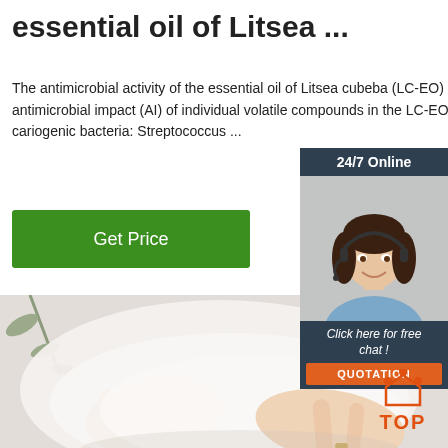essential oil of Litsea ...
The antimicrobial activity of the essential oil of Litsea cubeba (LC-EO) and the antimicrobial impact (AI) of individual volatile compounds in the LC-EO on the cariogenic bacteria: Streptococcus ...
[Figure (other): Green 'Get Price' button]
[Figure (other): 24/7 Online chat widget with female agent wearing headset, 'Click here for free chat!' text, and orange QUOTATION button]
[Figure (photo): Hands holding or touching a white fabric/sheet material, with a plant branch in the background, light and minimal style]
[Figure (logo): Orange TOP logo with house/dots icon above the word TOP]